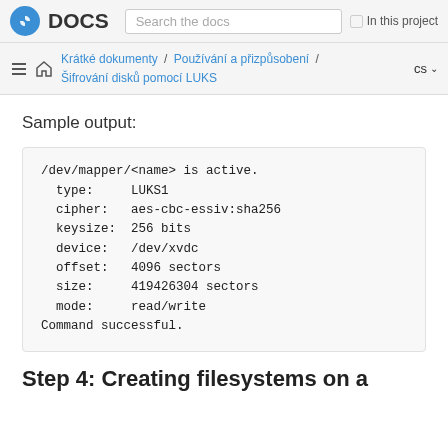Fedora DOCS | Search the docs | In this project
Krátké dokumenty / Používání a přizpůsobení / Šifrování disků pomocí LUKS   cs
Sample output:
/dev/mapper/<name> is active.
  type:     LUKS1
  cipher:   aes-cbc-essiv:sha256
  keysize:  256 bits
  device:   /dev/xvdc
  offset:   4096 sectors
  size:     419426304 sectors
  mode:     read/write
Command successful.
Step 4: Creating filesystems on a